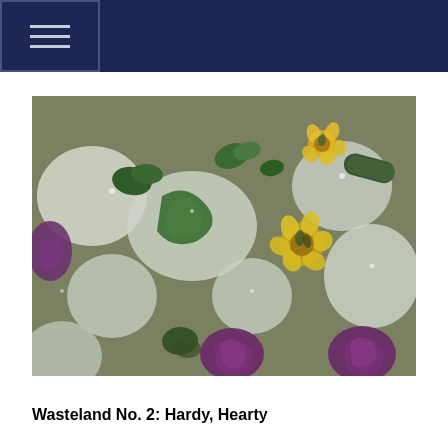[Figure (photo): Close-up photograph of frozen vegetables and edible flowers embedded in ice cubes — including green herbs, purple cabbage, yellow flowers, and pale round vegetables — all glistening with frost.]
Wasteland No. 2: Hardy, Hearty